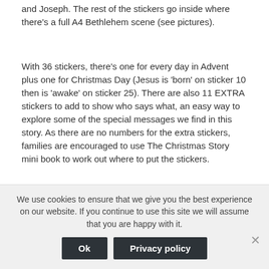and Joseph. The rest of the stickers go inside where there's a full A4 Bethlehem scene (see pictures).
With 36 stickers, there's one for every day in Advent plus one for Christmas Day (Jesus is 'born' on sticker 10 then is 'awake' on sticker 25). There are also 11 EXTRA stickers to add to show who says what, an easy way to explore some of the special messages we find in this story. As there are no numbers for the extra stickers, families are encouraged to use The Christmas Story mini book to work out where to put the stickers.
The Christmas Story Mini Book has the story from the Contemporary English Version of the Bible, a great
We use cookies to ensure that we give you the best experience on our website. If you continue to use this site we will assume that you are happy with it.
Ok
Privacy policy